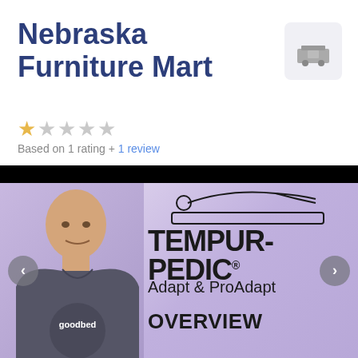Nebraska Furniture Mart
[Figure (other): Store icon placeholder - grey furniture icon on light grey rounded square background]
[Figure (other): Star rating: 1 out of 5 stars filled, 4 empty stars]
Based on 1 rating + 1 review
[Figure (screenshot): Video thumbnail showing a bald man in a grey t-shirt with a 'goodbed' logo circle, against a purple/lavender background. Text reads 'TEMPUR-PEDIC Adapt & ProAdapt OVERVIEW' with a line drawing of someone lying on a mattress above. Left and right navigation arrows visible.]